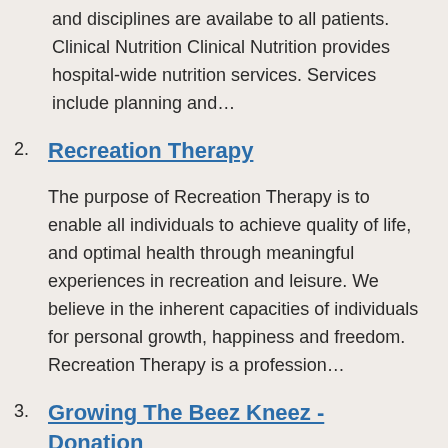and disciplines are availabe to all patients. Clinical Nutrition Clinical Nutrition provides hospital-wide nutrition services. Services include planning and…
2. Recreation Therapy
The purpose of Recreation Therapy is to enable all individuals to achieve quality of life, and optimal health through meaningful experiences in recreation and leisure. We believe in the inherent capacities of individuals for personal growth, happiness and freedom. Recreation Therapy is a profession…
3. Growing The Beez Kneez - Donation